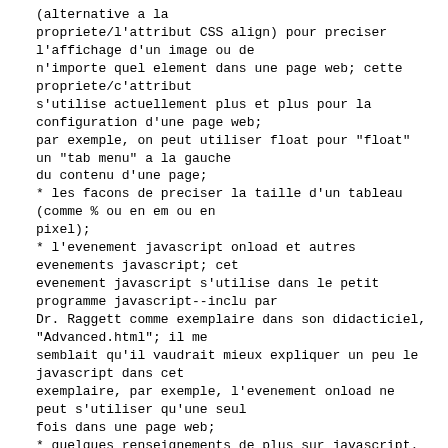(alternative a la propriete/l'attribut CSS align) pour preciser l'affichage d'un image ou de n'importe quel element dans une page web; cette propriete/c'attribut s'utilise actuellement plus et plus pour la configuration d'une page web;
par exemple, on peut utiliser float pour "float" un "tab menu" a la gauche du contenu d'une page;
* les facons de preciser la taille d'un tableau (comme % ou en em ou en pixel);
* l'evenement javascript onload et autres evenements javascript; cet evenement javascript s'utilise dans le petit programme javascript--inclu par Dr. Raggett comme exemplaire dans son didacticiel, "Advanced.html"; il me semblait qu'il vaudrait mieux expliquer un peu le javascript dans cet exemplaire, par exemple, l'evenement onload ne peut s'utiliser qu'une seul fois dans une page web;
* quelques renseignements de plus sur javascript.
Pour l'instant, je suis en train de creer une page dont j'explique un peu l'html de base ainsi que f...